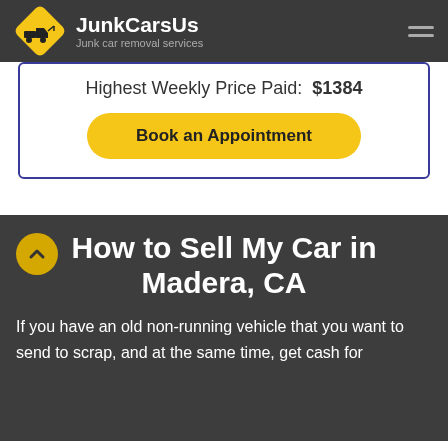JunkCarsUs — Junk car removal services
Highest Weekly Price Paid: $1384
Book an Appointment
How to Sell My Car in Madera, CA
If you have an old non-running vehicle that you want to send to scrap, and at the same time, get cash for